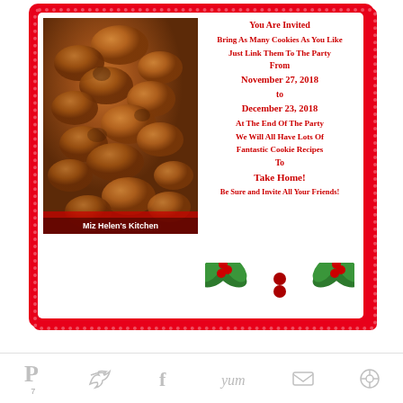[Figure (photo): Photo of chocolate/gingerbread cookies in a jar or bowl, taken from above. Caption reads 'Miz Helen's Kitchen'. The photo is on the left side of a red-bordered invitation card.]
You Are Invited
Bring As Many Cookies As You Like
Just Link Them To The Party
From
November 27, 2018
to
December 23, 2018
At The End Of The Party
We Will All Have Lots Of
Fantastic Cookie Recipes
To
Take Home!
Be Sure and Invite All Your Friends!
[Figure (illustration): Holly leaf decoration with red berries, centered below the invitation text]
Social share icons: Pinterest (7), Twitter, Facebook, Yum, Email, Other